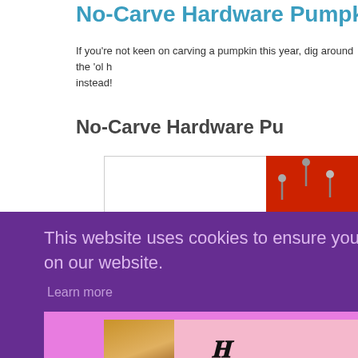No-Carve Hardware Pumpkins
If you're not keen on carving a pumpkin this year, dig around the 'ol hardware store instead!
No-Carve Hardware Pu
[Figure (photo): White placeholder image area for no-carve hardware pumpkin photo]
[Figure (photo): Photo of a pumpkin decorated with hardware items like nails, on orange background]
This website uses cookies to ensure you get the best experience on our website.
Learn more
Got it!
CLOSE
[Figure (illustration): Victoria's Secret advertisement banner with model, VS logo, SHOP THE COLLECTION text, and SHOP NOW button]